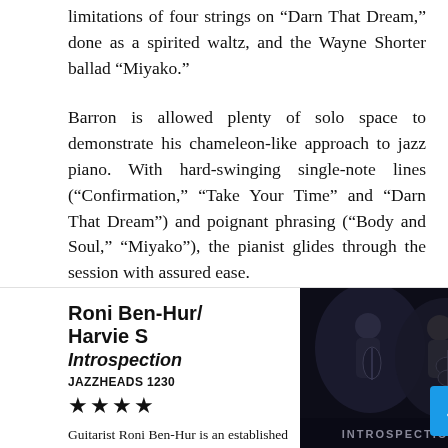limitations of four strings on “Darn That Dream,” done as a spirited waltz, and the Wayne Shorter ballad “Miyako.”
Barron is allowed plenty of solo space to demonstrate his chameleon-like approach to jazz piano. With hard-swinging single-note lines (“Confirmation,” “Take Your Time” and “Darn That Dream”) and poignant phrasing (“Body and Soul,” “Miyako”), the pianist glides through the session with assured ease.
S ends the disc with a solo-bass rendition of Billy Strayhorn’s “Chelsea Bridge,” utilizing blistering runs, double stops and chords, leaving no doubts about his stature as one of the preeminent bass voices in jazz today.
Roni Ben-Hur/ Harvie S
Introspection
JAZZHEADS 1230
★★★★
Guitarist Roni Ben-Hur is an established jazz figurehead with a keen
[Figure (photo): Album cover photo showing two musicians, a guitarist and a bassist, in a dark/moody setting with the text INTROSPECTION at the bottom]